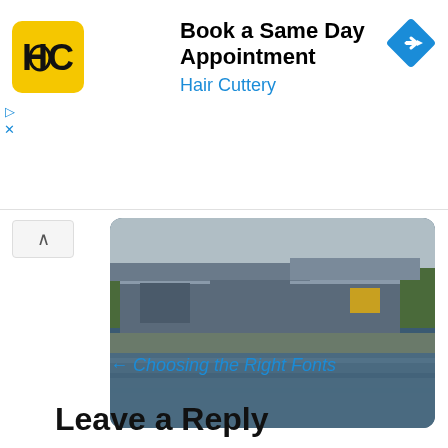[Figure (infographic): Hair Cuttery advertisement banner with yellow logo, text 'Book a Same Day Appointment' and 'Hair Cuttery', blue diamond navigation arrow icon, and play/close controls]
[Figure (photo): Photograph of a waterfront building/marina with water in the foreground, buildings and trees visible]
← Choosing the Right Fonts
Leave a Reply